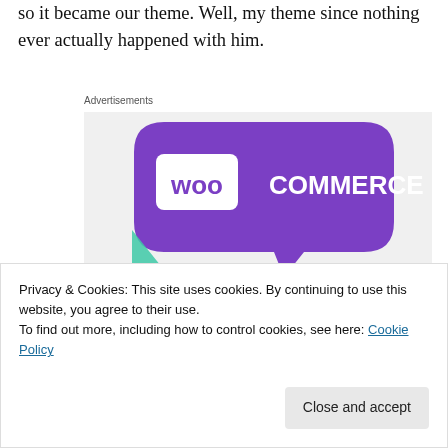so it became our theme. Well, my theme since nothing ever actually happened with him.
Advertisements
[Figure (illustration): WooCommerce advertisement banner with purple speech-bubble logo, teal and blue decorative triangles, and text 'How to start selling subscriptions online']
Privacy & Cookies: This site uses cookies. By continuing to use this website, you agree to their use.
To find out more, including how to control cookies, see here: Cookie Policy
Close and accept